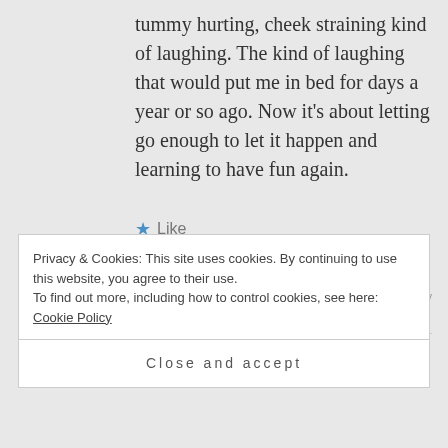tummy hurting, cheek straining kind of laughing. The kind of laughing that would put me in bed for days a year or so ago. Now it's about letting go enough to let it happen and learning to have fun again.
★ Like
PALOMINO72 says: Log in to Reply
February 2, 2013 at 2:55 pm
Privacy & Cookies: This site uses cookies. By continuing to use this website, you agree to their use.
To find out more, including how to control cookies, see here: Cookie Policy
Close and accept